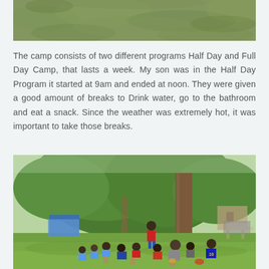[Figure (photo): Top portion of a grassy field photo, showing green grass texture.]
The camp consists of two different programs Half Day and Full Day Camp, that lasts a week. My son was in the Half Day Program it started at 9am and ended at noon. They were given a good amount of breaks to Drink water, go to the bathroom and eat a snack. Since the weather was extremely hot, it was important to take those breaks.
[Figure (photo): Children sitting on grass under a large tree, with one child in a red shirt standing. A soccer camp break scene outdoors with trees and a building in the background.]